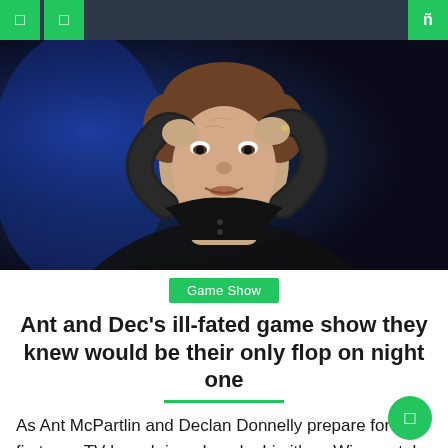Navigation bar with menu and search icons
[Figure (photo): Close-up photo of a man (Dec/Declan Donnelly) with both hands raised to his head, looking surprised or stressed, against a dark blue background]
Game Show
Ant and Dec's ill-fated game show they knew would be their only flop on night one
As Ant McPartlin and Declan Donnelly prepare for their first new TV launch in a decade, Limitless Win, we take a look at the controversy surrounding their latest shot at game show